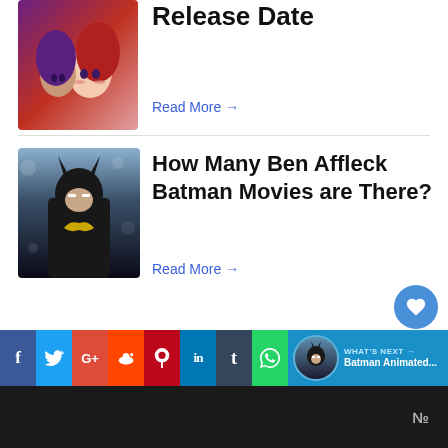[Figure (photo): Anime characters with purple and red hair]
Release Date
Read More →
[Figure (photo): Ben Affleck as Batman in dark suit with bokeh background]
How Many Ben Affleck Batman Movies are There?
Read More →
[Figure (infographic): Social media share bar with icons: Facebook, Twitter, Google+, Reddit, Pinterest, LinkedIn, Tumblr, WhatsApp; plus WHAT'S NEXT banner with Batman Animated thumbnail]
ℙ°